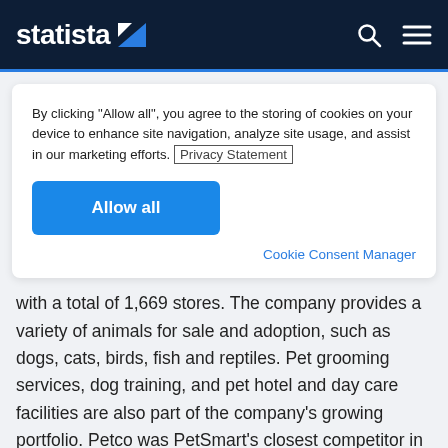statista
By clicking "Allow all", you agree to the storing of cookies on your device to enhance site navigation, analyze site usage, and assist in our marketing efforts. Privacy Statement
Allow all
Cookie Consent Manager
with a total of 1,669 stores. The company provides a variety of animals for sale and adoption, such as dogs, cats, birds, fish and reptiles. Pet grooming services, dog training, and pet hotel and day care facilities are also part of the company's growing portfolio. Petco was PetSmart's closest competitor in terms of store locations in that year, with